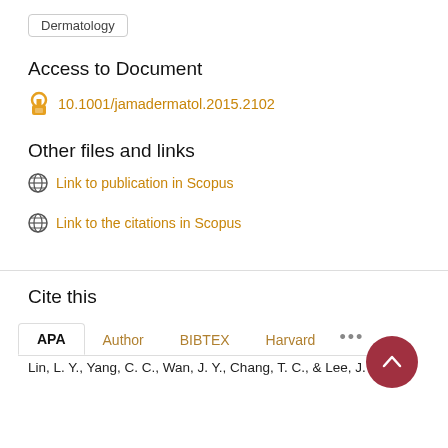Dermatology
Access to Document
10.1001/jamadermatol.2015.2102
Other files and links
Link to publication in Scopus
Link to the citations in Scopus
Cite this
APA  Author  BIBTEX  Harvard  ...
Lin, L. Y., Yang, C. C., Wan, J. Y., Chang, T. C., & Lee, J. Y. Y.